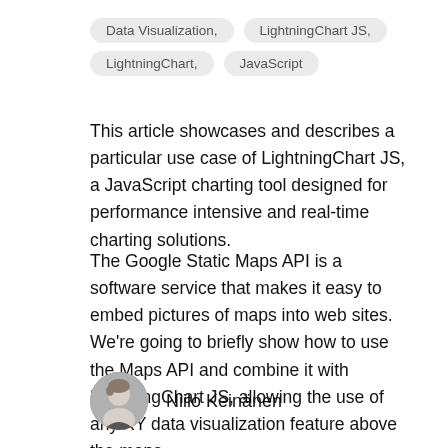Data Visualization,
LightningChart JS,
LightningChart,
JavaScript
This article showcases and describes a particular use case of LightningChart JS, a JavaScript charting tool designed for performance intensive and real-time charting solutions.
The Google Static Maps API is a software service that makes it easy to embed pictures of maps into web sites. We’re going to briefly show how to use the Maps API and combine it with LightningChart JS, allowing the use of any XY data visualization feature above the maps.
Niilo Keinänen